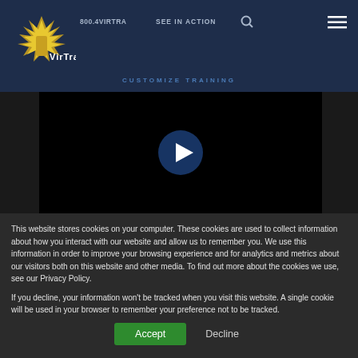VirTra — SEE IN ACTION | CUSTOMIZE TRAINING
[Figure (screenshot): Black video player area with a circular play button in the center]
This website stores cookies on your computer. These cookies are used to collect information about how you interact with our website and allow us to remember you. We use this information in order to improve your browsing experience and for analytics and metrics about our visitors both on this website and other media. To find out more about the cookies we use, see our Privacy Policy.
If you decline, your information won't be tracked when you visit this website. A single cookie will be used in your browser to remember your preference not to be tracked.
Accept   Decline